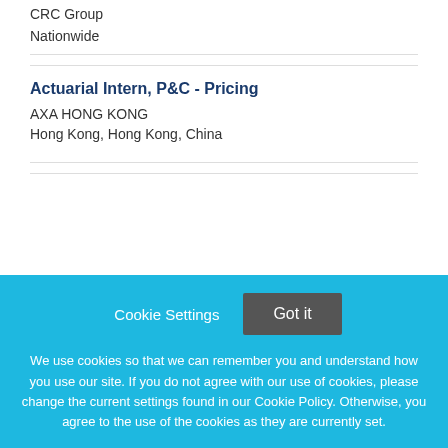CRC Group
Nationwide
Actuarial Intern, P&C - Pricing
AXA HONG KONG
Hong Kong, Hong Kong, China
[Figure (logo): Pinnacle Actuarial Resources, Inc. Logo (partially visible)]
Cookie Settings
Got it
We use cookies so that we can remember you and understand how you use our site. If you do not agree with our use of cookies, please change the current settings found in our Cookie Policy. Otherwise, you agree to the use of the cookies as they are currently set.